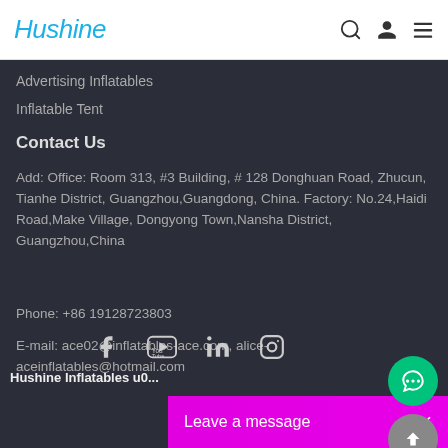Hushine
Advertising Inflatables
Inflatable Tent
Contact Us
Add: Office: Room 313, #3 Building, # 128 Donghuan Road, Zhucun, Tianhe District, Guangzhou,Guangdong, China. Factory: No.24,Haidi Road,Make Village, Dongyong Town,Nansha District, Guangzhou,China
Phone: +86 19128723803
E-mail: ace02@inflatables-ace.com, alice-aceinflatables@hotmail.com
Hushine Inflatables u0...
Leave a message